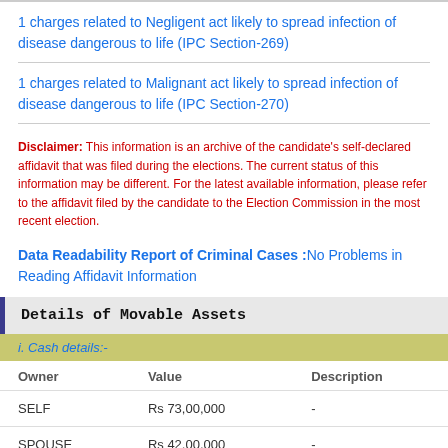1 charges related to Negligent act likely to spread infection of disease dangerous to life (IPC Section-269)
1 charges related to Malignant act likely to spread infection of disease dangerous to life (IPC Section-270)
Disclaimer: This information is an archive of the candidate’s self-declared affidavit that was filed during the elections. The current status of this information may be different. For the latest available information, please refer to the affidavit filed by the candidate to the Election Commission in the most recent election.
Data Readability Report of Criminal Cases :No Problems in Reading Affidavit Information
Details of Movable Assets
i. Cash details:-
| Owner | Value | Description |
| --- | --- | --- |
| SELF | Rs 73,00,000 | - |
| SPOUSE | Rs 42,00,000 | - |
ii.Deposits in Banks, Financial Institutions and Non-Banking Financial